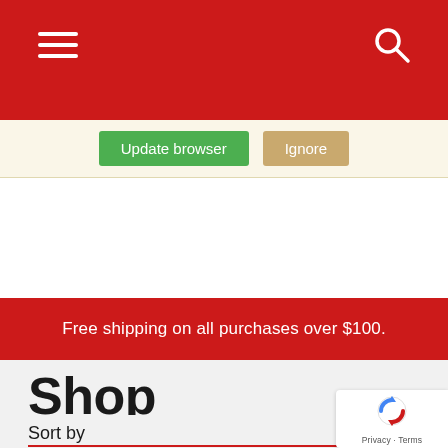[Figure (screenshot): Red navigation bar with hamburger menu icon on left and search icon on right]
Update browser    Ignore
Free shipping on all purchases over $100.
Shop
Sort by
[Figure (logo): Google reCAPTCHA badge with Privacy and Terms links]